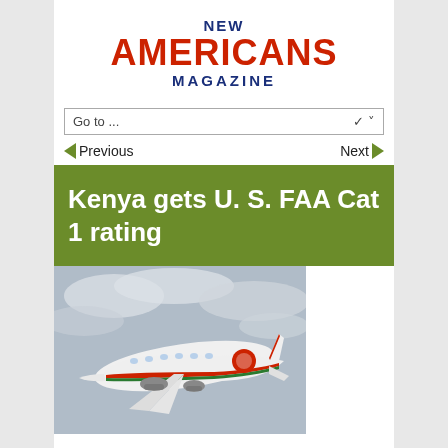NEW AMERICANS MAGAZINE
Go to ...
◄ Previous   Next ►
Kenya gets U. S. FAA Cat 1 rating
[Figure (photo): A white commercial airplane with red and green stripe livery and a red circular logo, photographed in flight against an overcast sky.]
Posted by: Deba Uwadiae , February 28, 2017